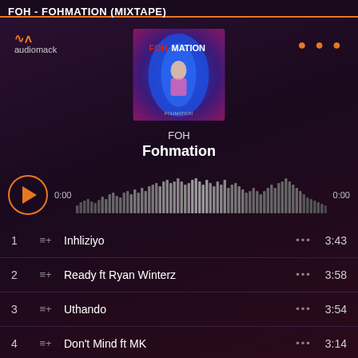FOH - FOHMATION (MIXTAPE)
[Figure (screenshot): Audiomack music player interface showing FOH - Fohmation mixtape with album art, waveform player, and tracklist]
FOH
Fohmation
| # |  | Title |  | Duration |
| --- | --- | --- | --- | --- |
| 1 | ≡+ | Inhliziyo | ••• | 3:43 |
| 2 | ≡+ | Ready ft Ryan Winterz | ••• | 3:58 |
| 3 | ≡+ | Uthando | ••• | 3:54 |
| 4 | ≡+ | Don't Mind ft MK | ••• | 3:14 |